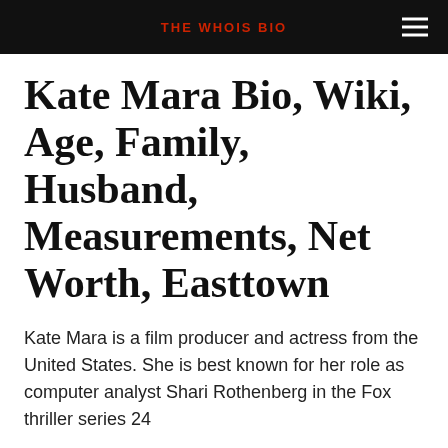THE WHOIS BIO
Kate Mara Bio, Wiki, Age, Family, Husband, Measurements, Net Worth, Easttown
Kate Mara is a film producer and actress from the United States. She is best known for her role as computer analyst Shari Rothenberg in the Fox thriller series 24